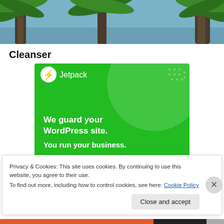[Figure (photo): Photo of palm trees and blue sky, cropped at top]
Cleanser
[Figure (illustration): Jetpack advertisement banner: green background with Jetpack logo and text 'We guard your WordPress site. You run your business.']
Privacy & Cookies: This site uses cookies. By continuing to use this website, you agree to their use.
To find out more, including how to control cookies, see here: Cookie Policy
Close and accept